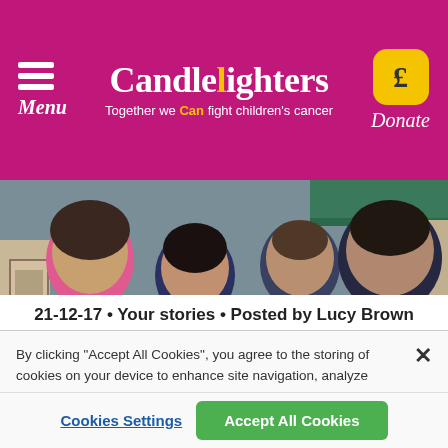Menu | Candlelighters — Together we Can fight children's cancer | Donate
[Figure (photo): Four people standing together outside a building: a woman in a pink Candlelighters t-shirt on the left, a woman in dark clothing, a man in a suit with a blue tie, and a man in a pinstripe suit.]
21-12-17 • Your stories • Posted by Lucy Brown
By clicking "Accept All Cookies", you agree to the storing of cookies on your device to enhance site navigation, analyze site usage, and assist in our marketing efforts.  Cookie Policy
Cookies Settings
Accept All Cookies